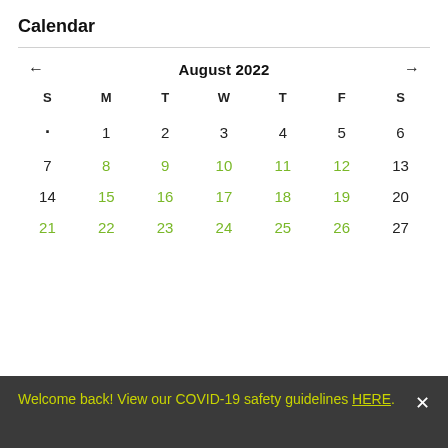Calendar
| S | M | T | W | T | F | S |
| --- | --- | --- | --- | --- | --- | --- |
| · | 1 | 2 | 3 | 4 | 5 | 6 |
| 7 | 8 | 9 | 10 | 11 | 12 | 13 |
| 14 | 15 | 16 | 17 | 18 | 19 | 20 |
| 21 | 22 | 23 | 24 | 25 | 26 | 27 |
Welcome back! View our COVID-19 safety guidelines HERE.